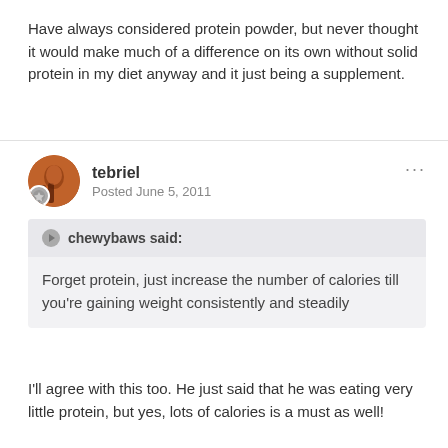Have always considered protein powder, but never thought it would make much of a difference on its own without solid protein in my diet anyway and it just being a supplement.
tebriel
Posted June 5, 2011
chewybaws said:
Forget protein, just increase the number of calories till you're gaining weight consistently and steadily
I'll agree with this too. He just said that he was eating very little protein, but yes, lots of calories is a must as well!